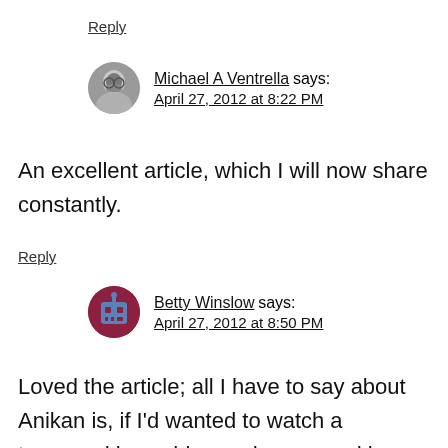Reply
Michael A Ventrella says:
April 27, 2012 at 8:22 PM
An excellent article, which I will now share constantly.
Reply
Betty Winslow says:
April 27, 2012 at 8:50 PM
Loved the article; all I have to say about Anikan is, if I'd wanted to watch a teenaged boy whine and moan and be a gigantic pain in the ass, I could have